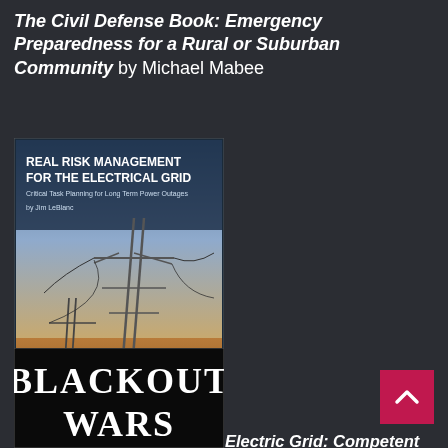The Civil Defense Book: Emergency Preparedness for a Rural or Suburban Community by Michael Mabee
[Figure (illustration): Book cover of 'Real Risk Management for the Electrical Grid: Critical Task Planning for Long Term Power Outages by Jim LeBlanc, Volume 1' showing electrical transmission towers against a dramatic sky]
Real Risk Management for Electric Grid: Competent Risk Management... by Jim LeBlanc
[Figure (illustration): Book cover of 'Blackout Wars' showing bold black and white text on dark background]